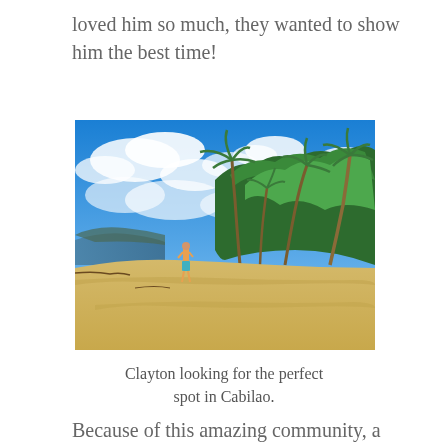loved him so much, they wanted to show him the best time!
[Figure (photo): A person standing on a white sandy beach in Cabilao, with tall palm trees swaying in the wind and lush green vegetation in the background under a vivid blue sky with scattered white clouds.]
Clayton looking for the perfect spot in Cabilao.
Because of this amazing community, a